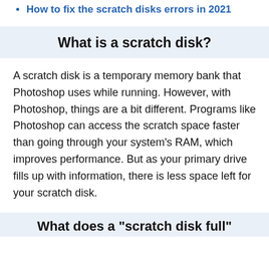How to fix the scratch disks errors in 2021
What is a scratch disk?
A scratch disk is a temporary memory bank that Photoshop uses while running. However, with Photoshop, things are a bit different. Programs like Photoshop can access the scratch space faster than going through your system's RAM, which improves performance. But as your primary drive fills up with information, there is less space left for your scratch disk.
What does a "scratch disk full"